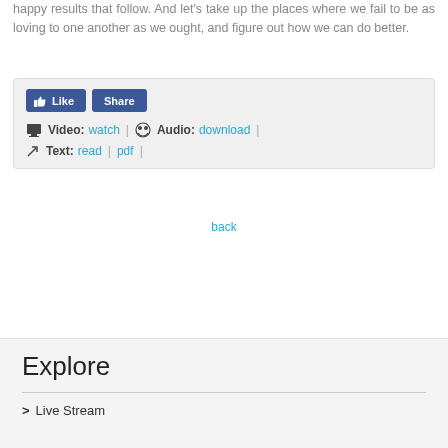happy results that follow. And let's take up the places where we fail to be as loving to one another as we ought, and figure out how we can do better.
[Figure (screenshot): Social media widget box with Like and Share buttons, followed by links for Video: watch, Audio: download, Text: read, pdf]
back
Explore
> Live Stream